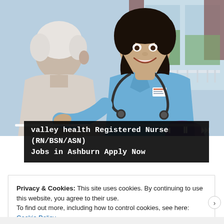[Figure (photo): A smiling female nurse in blue scrubs with a stethoscope talking with an elderly male patient. A progress bar and media playback controls (previous, pause, next) are visible at the bottom of the image.]
valley health Registered Nurse (RN/BSN/ASN) Jobs in Ashburn Apply Now
Privacy & Cookies: This site uses cookies. By continuing to use this website, you agree to their use.
To find out more, including how to control cookies, see here: Cookie Policy
Close and accept